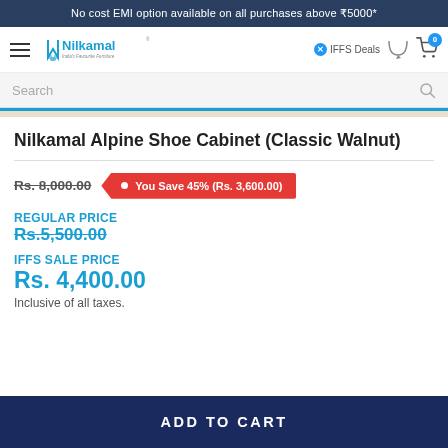No cost EMI option available on all purchases above ₹5000*
[Figure (logo): Nilkamal logo with tagline India's Favourite Furniture, navigation icons for IFFS Deals, chat, and cart]
Search
Nilkamal Alpine Shoe Cabinet (Classic Walnut)
Rs. 8,000.00   You Save 45% (Rs. 3,600.00)
REGULAR PRICE
Rs.5,500.00
IFFS SALE PRICE
Rs. 4,400.00
Inclusive of all taxes.
ADD TO CART